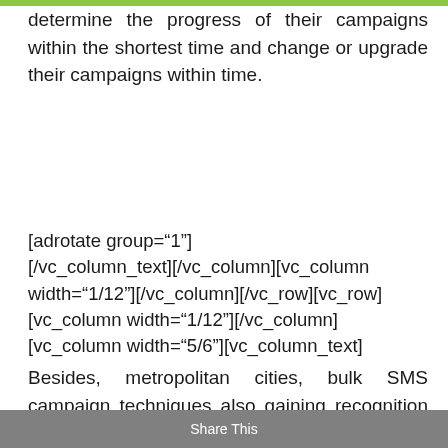determine the progress of their campaigns within the shortest time and change or upgrade their campaigns within time.
[adrotate group="1"] [/vc_column_text][/vc_column][vc_column width="1/12"][/vc_column][/vc_row][vc_row] [vc_column width="1/12"][/vc_column] [vc_column width="5/6"][vc_column_text]
Besides, metropolitan cities, bulk SMS campaign techniques also gaining recognition in the suburbs and business-oriented cities. SMS marketing is acquiring a tremendou